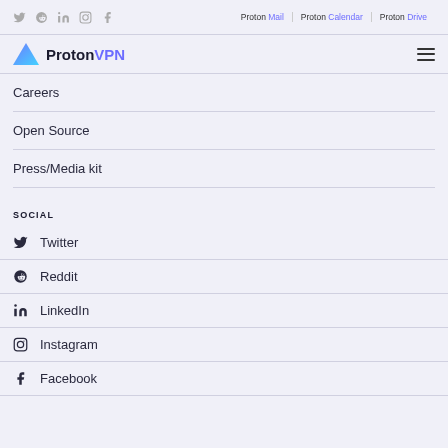Social icons: Twitter, Reddit, LinkedIn, Instagram, Facebook | Proton Mail | Proton Calendar | Proton Drive
[Figure (logo): ProtonVPN logo with triangle icon and hamburger menu]
Careers
Open Source
Press/Media kit
SOCIAL
Twitter
Reddit
LinkedIn
Instagram
Facebook